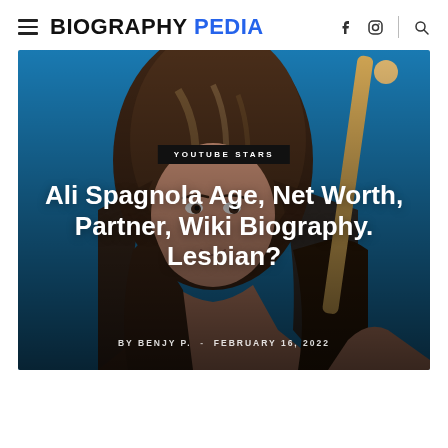BIOGRAPHY PEDIA
[Figure (photo): Woman with long brown hair holding a drumstick, photographed against a blue background. Article hero image for Ali Spagnola biography page.]
Ali Spagnola Age, Net Worth, Partner, Wiki Biography. Lesbian?
BY BENJY P. - FEBRUARY 16, 2022